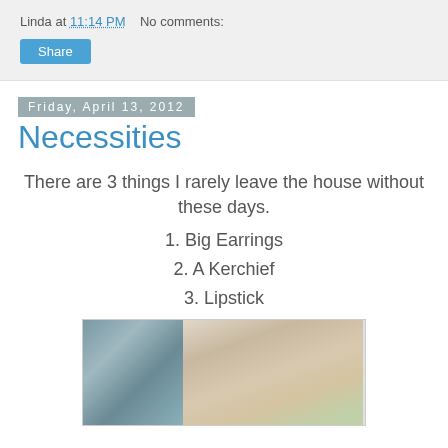Linda at 11:14 PM    No comments:
Share
Friday, April 13, 2012
Necessities
There are 3 things I rarely leave the house without these days.
1. Big Earrings
2. A Kerchief
3. Lipstick
[Figure (photo): Two photos side by side: left shows earrings close-up, right shows a woman wearing a yellow kerchief]